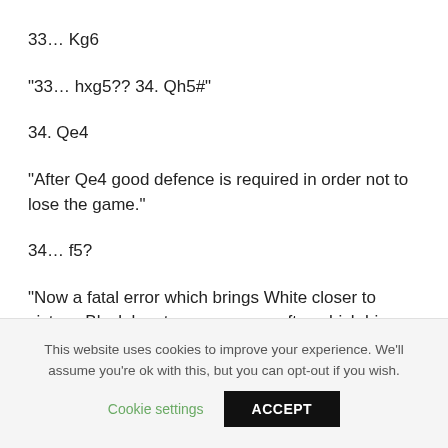33… Kg6
“33… hxg5?? 34. Qh5#”
34. Qe4
“After Qe4 good defence is required in order not to lose the game.”
34… f5?
“Now a fatal error which brings White closer to victory. Black has two responses after which his opponent would be forced
This website uses cookies to improve your experience. We’ll assume you’re ok with this, but you can opt-out if you wish.
Cookie settings   ACCEPT